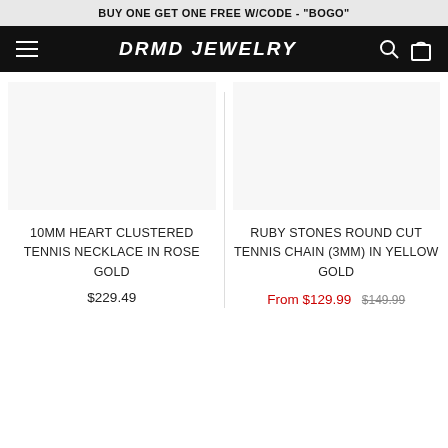BUY ONE GET ONE FREE W/CODE - "BOGO"
DRMD JEWELRY
10MM HEART CLUSTERED TENNIS NECKLACE IN ROSE GOLD
$229.49
RUBY STONES ROUND CUT TENNIS CHAIN (3MM) IN YELLOW GOLD
From $129.99  $149.99